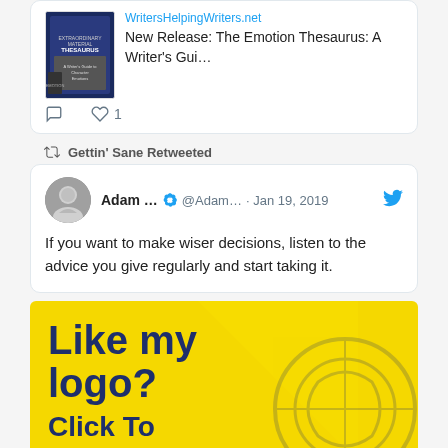[Figure (screenshot): Twitter card showing a book image and link: 'WritersHelpingWriters.net New Release: The Emotion Thesaurus: A Writer's Gui...' with comment and heart (1) icons below]
Gettin' Sane Retweeted
[Figure (screenshot): Retweeted tweet from Adam ... @Adam... · Jan 19, 2019 with Twitter bird icon. Text: 'If you want to make wiser decisions, listen to the advice you give regularly and start taking it.']
[Figure (infographic): Yellow advertisement banner with bold dark blue text 'Like my logo?' and below 'Click To' with a decorative circular logo outline on the right]